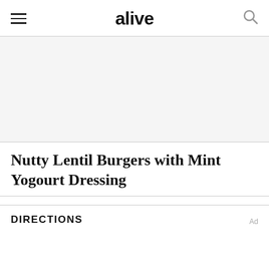alive
[Figure (photo): Empty image area / article hero image placeholder]
Nutty Lentil Burgers with Mint Yogourt Dressing
DIRECTIONS